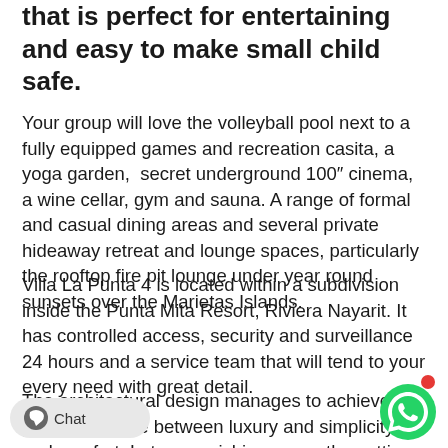that is perfect for entertaining and easy to make small child safe.
Your group will love the volleyball pool next to a fully equipped games and recreation casita, a yoga garden,  secret underground 100″ cinema, a wine cellar, gym and sauna. A range of formal and casual dining areas and several private hideaway retreat and lounge spaces, particularly the rooftop fire pit lounge under year round sunsets over the Marietas Islands.
Villa La Punta 4 is located within a subdivision inside the Punta Mita Resort, Riviera Nayarit. It has controlled access, security and surveillance 24 hours and a service team that will tend to your every need with great detail.
The architectural design manages to achieve the perfect balance between luxury and simplicit… and comfort. Let our ravishing spac… the settings for you to discover the magic of